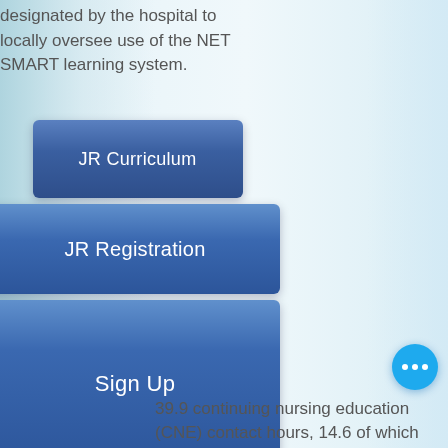designated by the hospital to locally oversee use of the NET SMART learning system.
[Figure (infographic): Three stacked blue gradient buttons: 'JR Curriculum' (small, top center), 'JR Registration' (medium, middle), 'Sign Up' (large, bottom). A circular blue button with three dots appears at bottom right.]
39.9 continuing nursing education (CNE) contact hours, 14.6 of which